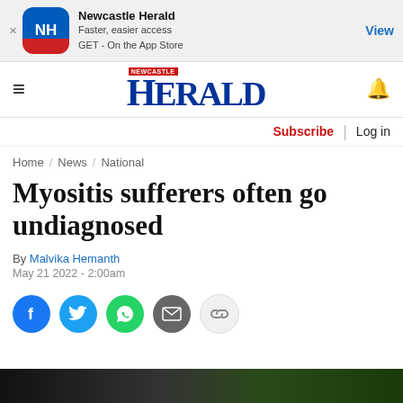Newcastle Herald — Faster, easier access GET - On the App Store — View
[Figure (logo): Newcastle Herald NH logo icon and navigation bar with hamburger menu and bell icon]
Subscribe | Log in
Home / News / National
Myositis sufferers often go undiagnosed
By Malvika Hemanth
May 21 2022 - 2:00am
[Figure (other): Social share icons: Facebook, Twitter, WhatsApp, Email, Link/copy]